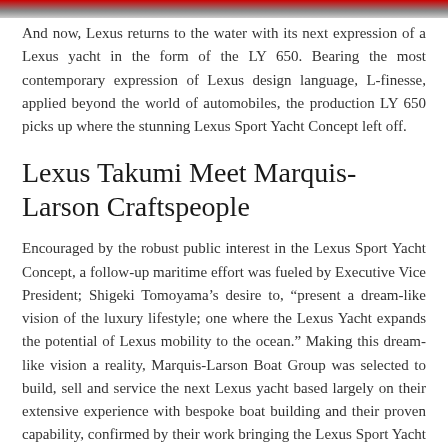[Figure (photo): Top banner image, partially visible, showing a reddish-gray gradient strip at the top of the page]
And now, Lexus returns to the water with its next expression of a Lexus yacht in the form of the LY 650. Bearing the most contemporary expression of Lexus design language, L-finesse, applied beyond the world of automobiles, the production LY 650 picks up where the stunning Lexus Sport Yacht Concept left off.
Lexus Takumi Meet Marquis-Larson Craftspeople
Encouraged by the robust public interest in the Lexus Sport Yacht Concept, a follow-up maritime effort was fueled by Executive Vice President; Shigeki Tomoyama’s desire to, “present a dream-like vision of the luxury lifestyle; one where the Lexus Yacht expands the potential of Lexus mobility to the ocean.” Making this dream-like vision a reality, Marquis-Larson Boat Group was selected to build, sell and service the next Lexus yacht based largely on their extensive experience with bespoke boat building and their proven capability, confirmed by their work bringing the Lexus Sport Yacht Concept to life.
Based in Pulaski, WI, Marquis-Larson is the ideal partner to bring